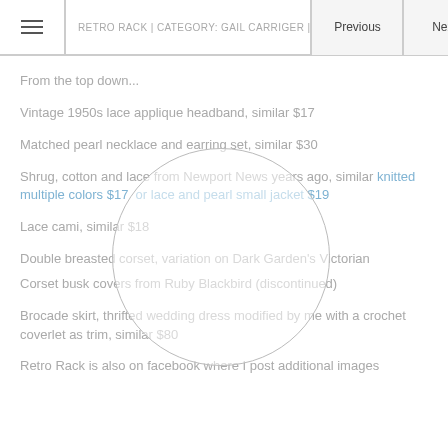RETRO RACK | CATEGORY: GAIL CARRIGER | Previous | Next
From the top down...
Vintage 1950s lace applique headband, similar $17
Matched pearl necklace and earring set, similar $30
Shrug, cotton and lace from Newport News years ago, similar knitted multiple colors $17  or lace and pearl small jacket $19
Lace cami, similar $18
Double breasted corset, variation on Dark Garden's Victorian
Corset busk covers from Ruby Blackbird (discontinued)
Brocade skirt, thrifted wedding dress modified by me with a crochet coverlet as trim, similar $80
Retro Rack is also on facebook where I post additional images